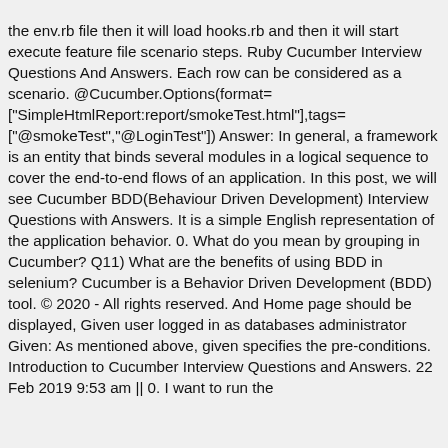the env.rb file then it will load hooks.rb and then it will start execute feature file scenario steps. Ruby Cucumber Interview Questions And Answers. Each row can be considered as a scenario. @Cucumber.Options(format= ["SimpleHtmlReport:report/smokeTest.html"],tags= ["@smokeTest","@LoginTest"]) Answer: In general, a framework is an entity that binds several modules in a logical sequence to cover the end-to-end flows of an application. In this post, we will see Cucumber BDD(Behaviour Driven Development) Interview Questions with Answers. It is a simple English representation of the application behavior. 0. What do you mean by grouping in Cucumber? Q11) What are the benefits of using BDD in selenium? Cucumber is a Behavior Driven Development (BDD) tool. © 2020 - All rights reserved. And Home page should be displayed, Given user logged in as databases administrator Given: As mentioned above, given specifies the pre-conditions. Introduction to Cucumber Interview Questions and Answers. 22 Feb 2019 9:53 am || 0. I want to run the